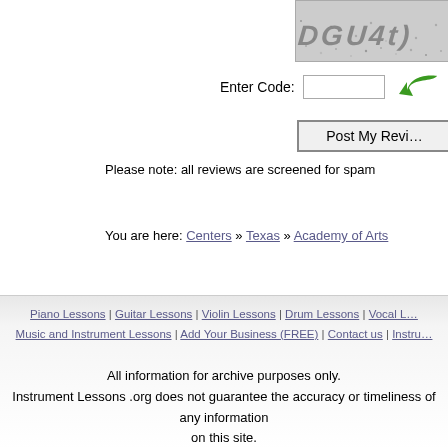[Figure (other): CAPTCHA image showing distorted text characters on a grey dotted background]
Enter Code:
[Figure (other): Green curved arrow icon (submit/enter button)]
Post My Revi...
Please note: all reviews are screened for spam
You are here: Centers » Texas » Academy of Arts
Piano Lessons | Guitar Lessons | Violin Lessons | Drum Lessons | Vocal L...
Music and Instrument Lessons | Add Your Business (FREE) | Contact us | Instru...
All information for archive purposes only.
Instrument Lessons .org does not guarantee the accuracy or timeliness of any information on this site.
Use at your own risk.